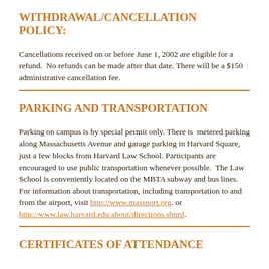WITHDRAWAL/CANCELLATION POLICY:
Cancellations received on or before June 1, 2002 are eligible for a refund.  No refunds can be made after that date. There will be a $150 administrative cancellation fee.
PARKING AND TRANSPORTATION
Parking on campus is by special permit only. There is  metered parking along Massachusetts Avenue and garage parking in Harvard Square, just a few blocks from Harvard Law School. Participants are encouraged to use public transportation whenever possible.  The Law School is conveniently located on the MBTA subway and bus lines.  For information about transportation, including transportation to and from the airport, visit http://www.massport.org. or http://www.law.harvard.edu/about/directions.shtml.
CERTIFICATES OF ATTENDANCE